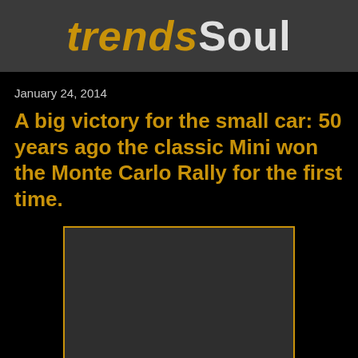trendsSoul
January 24, 2014
A big victory for the small car: 50 years ago the classic Mini won the Monte Carlo Rally for the first time.
[Figure (photo): Placeholder image area with orange border on black background]